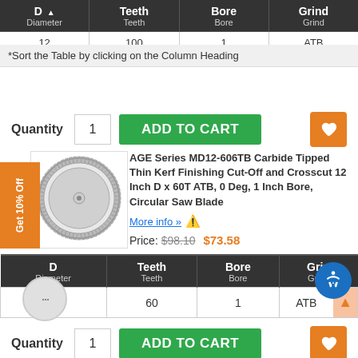| D Diameter | Teeth Teeth | Bore Bore | Grind Grind |
| --- | --- | --- | --- |
| 12 | 100 | 1 | ATB |
*Sort the Table by clicking on the Column Heading
Quantity 1 ADD TO CART
Get 10% Off
[Figure (illustration): Circular saw blade, thin kerf, 60 teeth, silver/grey]
AGE Series MD12-606TB Carbide Tipped Thin Kerf Finishing Cut-Off and Crosscut 12 Inch D x 60T ATB, 0 Deg, 1 Inch Bore, Circular Saw Blade
More info » ⚠
Price: $98.10 $73.58
| D Diameter | Teeth Teeth | Bore Bore | Grind Grind |
| --- | --- | --- | --- |
|  | 60 | 1 | ATB |
Quantity 1 ADD TO CART